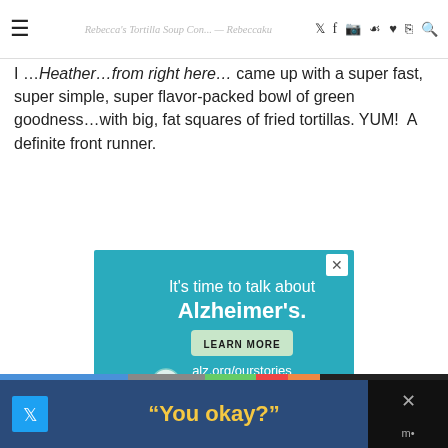Rebecca's Tortilla Soup Contest - Rebecca Rebacku | navigation icons
I …Heather…from right here… came up with a super fast, super simple, super flavor-packed bowl of green goodness…with big, fat squares of fried tortillas. YUM! A definite front runner.
[Figure (infographic): Alzheimer's Association advertisement on teal background. Text reads: It's time to talk about Alzheimer's. LEARN MORE button. alz.org/ourstories. Illustrated cartoon of an older man and a younger person. ad badge and alzheimer's association logo.]
[Figure (infographic): Bottom banner ad with dark blue background and yellow text reading: "You okay?" with social media icons on the sides.]